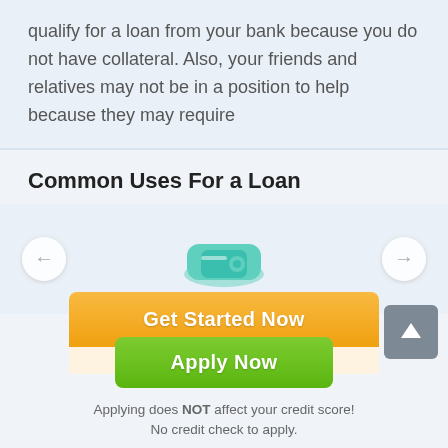qualify for a loan from your bank because you do not have collateral. Also, your friends and relatives may not be in a position to help because they may require
Common Uses For a Loan
[Figure (illustration): Teal/green colored loan or card icon in a carousel with left and right navigation arrows]
[Figure (illustration): Gray scroll-to-top button with upward arrow icon in bottom right]
[Figure (illustration): Orange 'Get Started Now' button overlapping green 'Apply Now' button with pale background pill showing 'Application is free of charge']
Applying does NOT affect your credit score! No credit check to apply.